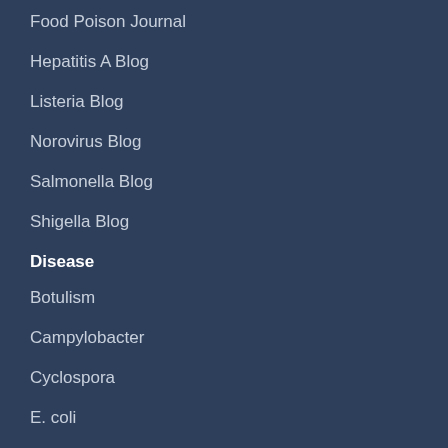Food Poison Journal
Hepatitis A Blog
Listeria Blog
Norovirus Blog
Salmonella Blog
Shigella Blog
Disease
Botulism
Campylobacter
Cyclospora
E. coli
Guillain-Barré Syndrome
Hemolytic Uremic Syndrome